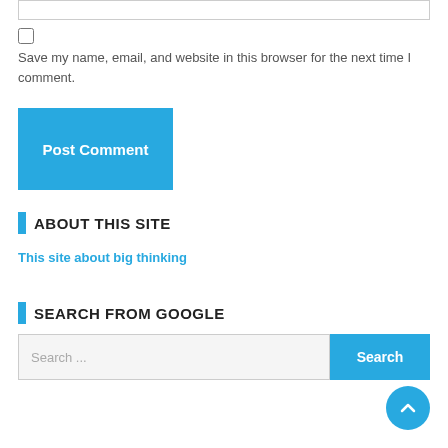Save my name, email, and website in this browser for the next time I comment.
Post Comment
ABOUT THIS SITE
This site about big thinking
SEARCH FROM GOOGLE
Search ...